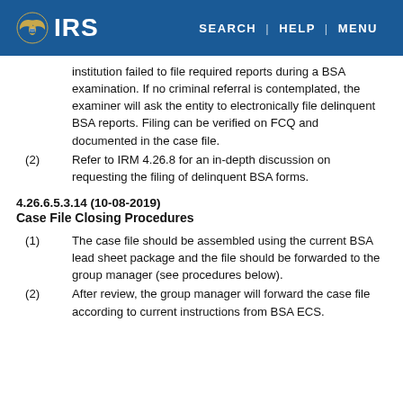IRS | SEARCH | HELP | MENU
institution failed to file required reports during a BSA examination. If no criminal referral is contemplated, the examiner will ask the entity to electronically file delinquent BSA reports. Filing can be verified on FCQ and documented in the case file.
(2) Refer to IRM 4.26.8 for an in-depth discussion on requesting the filing of delinquent BSA forms.
4.26.6.5.3.14 (10-08-2019)
Case File Closing Procedures
(1) The case file should be assembled using the current BSA lead sheet package and the file should be forwarded to the group manager (see procedures below).
(2) After review, the group manager will forward the case file according to current instructions from BSA ECS.